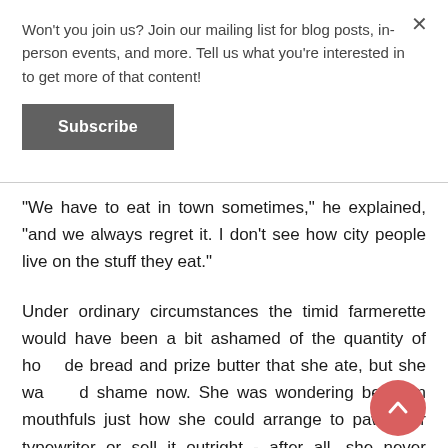Won't you join us? Join our mailing list for blog posts, in-person events, and more. Tell us what you're interested in to get more of that content!
Subscribe
"We have to eat in town sometimes," he explained, "and we always regret it. I don't see how city people live on the stuff they eat."
Under ordinary circumstances the timid farmerette would have been a bit ashamed of the quantity of ho de bread and prize butter that she ate, but she wa d shame now. She was wondering between mouthfuls just how she could arrange to pawn her typewriter or sell it outright - after all, she never wanted to see it again - and